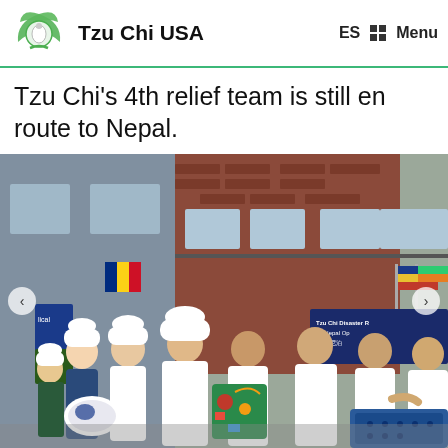Tzu Chi USA  ES  □□  Menu
Tzu Chi's 4th relief team is still en route to Nepal.
[Figure (photo): Group photo of Tzu Chi volunteers and medical staff in white coats standing in front of a brick building. They are holding wrapped gift items including a green holiday-wrapped package. Flags are visible in the background along with a banner reading 'Tzu Chi Disaster Relief Nepal Operation'. Navigation arrows visible on left and right sides of the photo.]